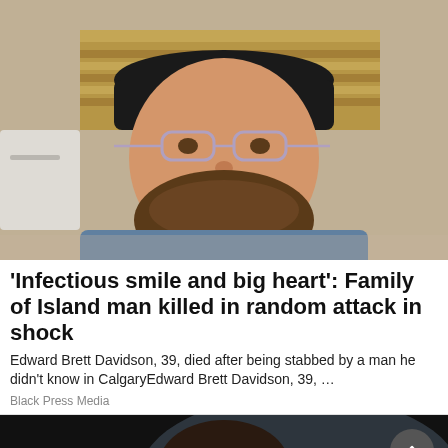[Figure (photo): A smiling bearded man wearing a black baseball cap and glasses, taking a selfie outdoors near a vehicle and wooden structure.]
'Infectious smile and big heart': Family of Island man killed in random attack in shock
Edward Brett Davidson, 39, died after being stabbed by a man he didn't know in CalgaryEdward Brett Davidson, 39, …
Black Press Media
[Figure (photo): A person with dark hair photographed from the shoulders up, with a dark background. A circular scroll-up button overlay is visible at the top right.]